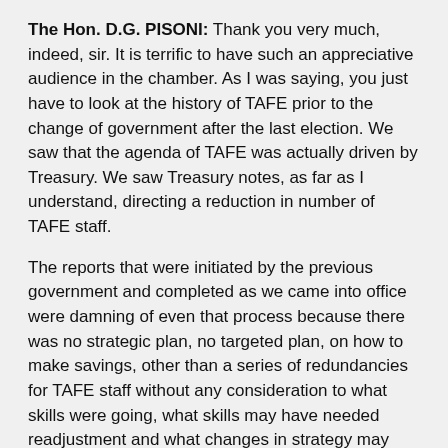The Hon. D.G. PISONI: Thank you very much, indeed, sir. It is terrific to have such an appreciative audience in the chamber. As I was saying, you just have to look at the history of TAFE prior to the change of government after the last election. We saw that the agenda of TAFE was actually driven by Treasury. We saw Treasury notes, as far as I understand, directing a reduction in number of TAFE staff.
The reports that were initiated by the previous government and completed as we came into office were damning of even that process because there was no strategic plan, no targeted plan, on how to make savings, other than a series of redundancies for TAFE staff without any consideration to what skills were going, what skills may have needed readjustment and what changes in strategy may have been needed in order to stop TAFE bleeding, both in student numbers and in income.